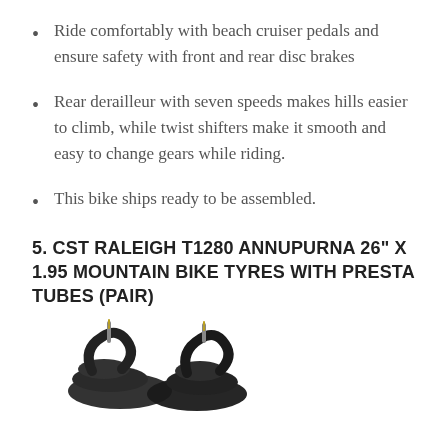Ride comfortably with beach cruiser pedals and ensure safety with front and rear disc brakes
Rear derailleur with seven speeds makes hills easier to climb, while twist shifters make it smooth and easy to change gears while riding.
This bike ships ready to be assembled.
5. CST RALEIGH T1280 ANNUPURNA 26" X 1.95 MOUNTAIN BIKE TYRES WITH PRESTA TUBES (PAIR)
[Figure (photo): Two black bicycle inner tubes with Presta valves, coiled and displayed against a white background.]